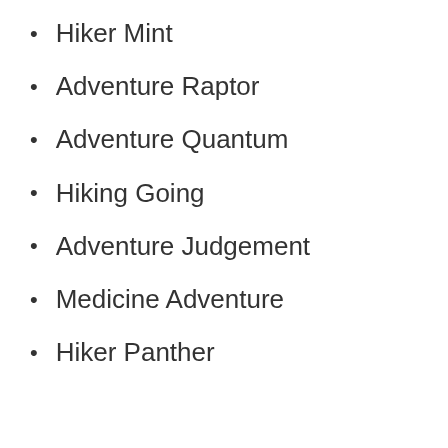Hiker Mint
Adventure Raptor
Adventure Quantum
Hiking Going
Adventure Judgement
Medicine Adventure
Hiker Panther